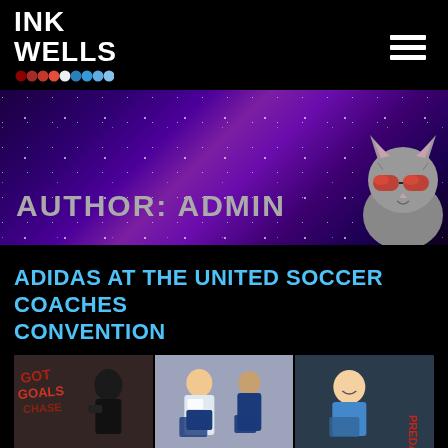[Figure (logo): INK WELLS logo with colored dots beneath, white text on black background]
[Figure (illustration): Hamburger menu icon, three white horizontal bars, top right of header]
[Figure (photo): Purple galaxy/space banner background with stars and a cat wearing sunglasses on the right side. Text overlay reads AUTHOR: ADMIN]
AUTHOR: ADMIN
ADIDAS AT THE UNITED SOCCER COACHES CONVENTION
[Figure (photo): Three-panel photo strip: left panel shows a person working with graffiti art wall background, middle panel shows a smiling woman and a young boy holding navy soccer jerseys with Adidas branding, right panel shows a young child smiling with PREDATOR text visible on wall]